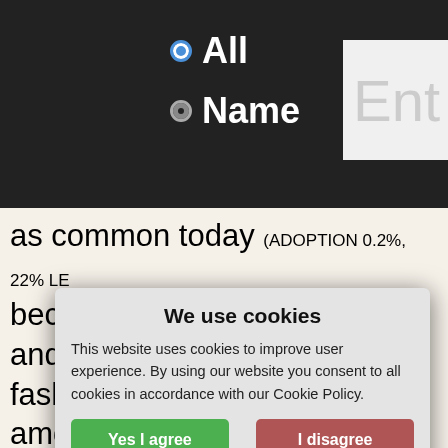[Figure (screenshot): Website header with dark background showing radio button options: 'All' (selected, blue) and 'Name', with a partially visible text input box labeled 'Ent']
as common today (ADOPTION 0.2%, 22% LE... becoming less trendy. Mariam and Ma... fashionable baby names among these...
[Figure (screenshot): Partially visible 'Show more comparisons' dropdown button and a chart showing popularity ranking over time with green dots]
We use cookies
This website uses cookies to improve user experience. By using our website you consent to all cookies in accordance with our Cookie Policy.
Yes I agree    I disagree
Read more
Free cookie consent by cookie-script.com